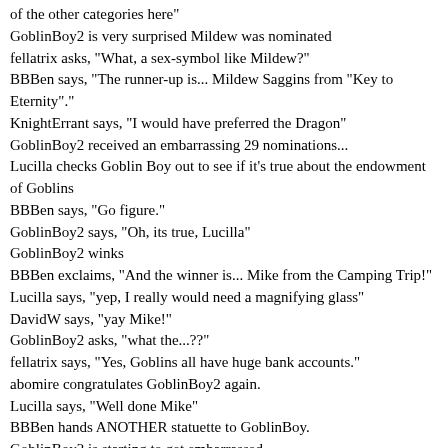of the other categories here"
GoblinBoy2 is very surprised Mildew was nominated
fellatrix asks, "What, a sex-symbol like Mildew?"
BBBen says, "The runner-up is... Mildew Saggins from "Key to Eternity"."
KnightErrant says, "I would have preferred the Dragon"
GoblinBoy2 received an embarrassing 29 nominations...
Lucilla checks Goblin Boy out to see if it's true about the endowment of Goblins
BBBen says, "Go figure."
GoblinBoy2 says, "Oh, its true, Lucilla"
GoblinBoy2 winks
BBBen exclaims, "And the winner is... Mike from the Camping Trip!"
Lucilla says, "yep, I really would need a magnifying glass"
DavidW says, "yay Mike!"
GoblinBoy2 asks, "what the...??"
fellatrix says, "Yes, Goblins all have huge bank accounts."
abomire congratulates GoblinBoy2 again.
Lucilla says, "Well done Mike"
BBBen hands ANOTHER statuette to GoblinBoy.
GoblinBoy2 is starting to get embarrassed
Lucilla says, "at least it was a different game"
GoblinBoy2 feels Fellatrix's left breast as he gets up to the podium
PurpleDragon asks, "Someone want to get that man a bigger table for all these wins?"